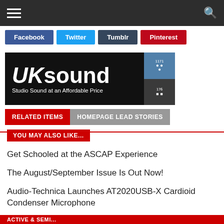Navigation bar with hamburger menu and search icon
Facebook
Twitter
Tumblr
Pinterest
[Figure (logo): UK Sound - Studio Sound at an Affordable Price advertisement banner]
RELATED ITEMS
HOMEPAGE LEAD STORIES
YOU MAY ALSO LIKE...
Get Schooled at the ASCAP Experience
The August/September Issue Is Out Now!
Audio-Technica Launches AT2020USB-X Cardioid Condenser Microphone
ACTIVE & SEMI...